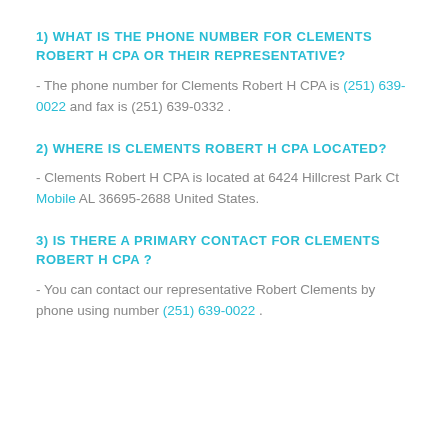1) WHAT IS THE PHONE NUMBER FOR CLEMENTS ROBERT H CPA OR THEIR REPRESENTATIVE?
- The phone number for Clements Robert H CPA is (251) 639-0022 and fax is (251) 639-0332 .
2) WHERE IS CLEMENTS ROBERT H CPA LOCATED?
- Clements Robert H CPA is located at 6424 Hillcrest Park Ct Mobile AL 36695-2688 United States.
3) IS THERE A PRIMARY CONTACT FOR CLEMENTS ROBERT H CPA ?
- You can contact our representative Robert Clements by phone using number (251) 639-0022 .